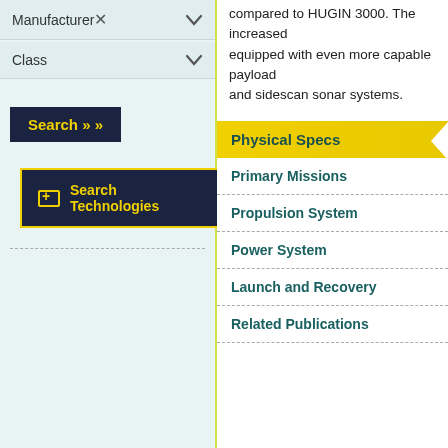Manufacturer
Class
Search »
Search Technologies
compared to HUGIN 3000. The increased equipped with even more capable payload and sidescan sonar systems.
Physical Specs
Primary Missions
Propulsion System
Power System
Launch and Recovery
Related Publications